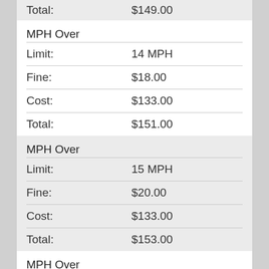| Field | Value |
| --- | --- |
| Total: | $149.00 |
| MPH Over Limit: |  |
| Limit: | 14 MPH |
| Fine: | $18.00 |
| Cost: | $133.00 |
| Total: | $151.00 |
| MPH Over Limit: |  |
| Limit: | 15 MPH |
| Fine: | $20.00 |
| Cost: | $133.00 |
| Total: | $153.00 |
| MPH Over Limit: |  |
| Limit: | 16 MPH |
| Fine: | $22.00 |
| Cost: | $133.00 |